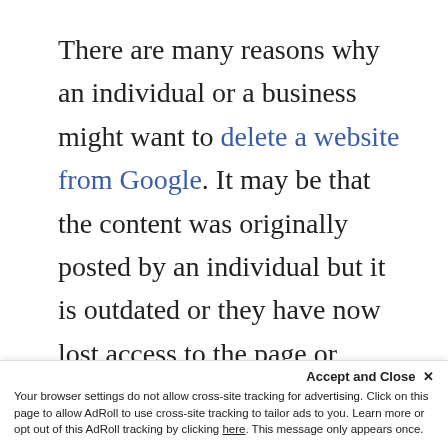There are many reasons why an individual or a business might want to delete a website from Google. It may be that the content was originally posted by an individual but it is outdated or they have now lost access to the page or account. An example of this is often seen when someone wants an old Myspace account removed. Additionally, a particular website might contain personal details about a person, such as their email address and phone number, and they might want this removed from public view. This often
Accept and Close ×
Your browser settings do not allow cross-site tracking for advertising. Click on this page to allow AdRoll to use cross-site tracking to tailor ads to you. Learn more or opt out of this AdRoll tracking by clicking here. This message only appears once.